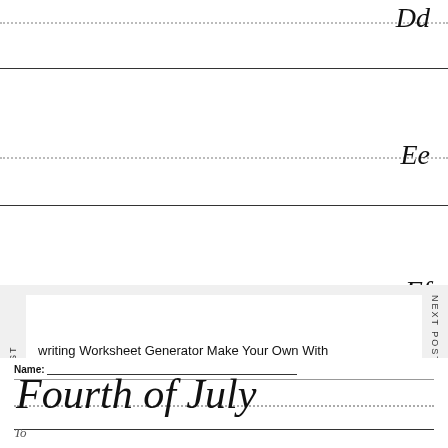[Figure (illustration): Cursive handwriting practice rows showing letters Dd, Ee, Ff, Gg with solid and dotted guide lines]
writing Worksheet Generator Make Your Own With ools Teaching Cursive Writing Teaching Cursive Left ed Writing
PREVIOUS POST
NEXT POST
Name:
[Figure (illustration): Cursive handwriting worksheet with 'Fourth of July' written in large cursive script on lined paper with dotted midline guide]